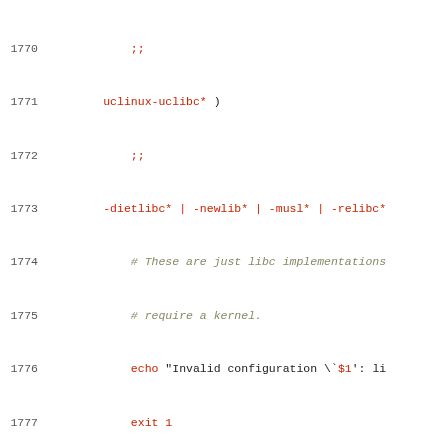Source code listing, lines 1770-1799, shell script case statement for OS/architecture detection